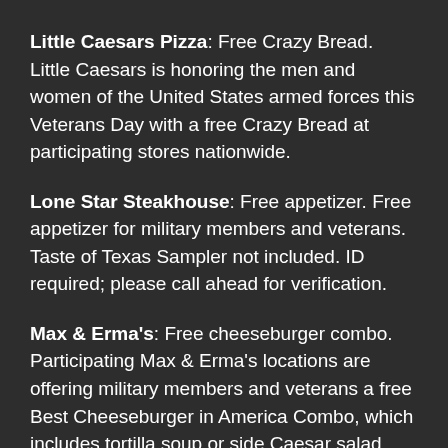Little Caesars Pizza: Free Crazy Bread. Little Caesars is honoring the men and women of the United States armed forces this Veterans Day with a free Crazy Bread at participating stores nationwide.
Lone Star Steakhouse: Free appetizer. Free appetizer for military members and veterans. Taste of Texas Sampler not included. ID required; please call ahead for verification.
Max & Erma's: Free cheeseburger combo. Participating Max & Erma's locations are offering military members and veterans a free Best Cheeseburger in America Combo, which includes tortilla soup or side Caesar salad, seasoned fries, and chocolate chip cookies.
McCormick & Schmick's Seafood Restaurants: Free lunch or dinner. On November 10, veterans will be able to choose